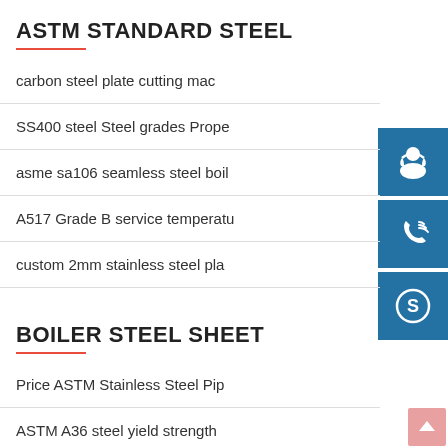ASTM STANDARD STEEL
carbon steel plate cutting mac
SS400 steel Steel grades Prope
asme sa106 seamless steel boil
A517 Grade B service temperatu
custom 2mm stainless steel pla
[Figure (illustration): Blue square icon with white customer service/headset figure]
[Figure (illustration): Blue square icon with white telephone/call icon]
[Figure (illustration): Blue square icon with white Skype logo]
BOILER STEEL SHEET
Price ASTM Stainless Steel Pip
ASTM A36 steel yield strength